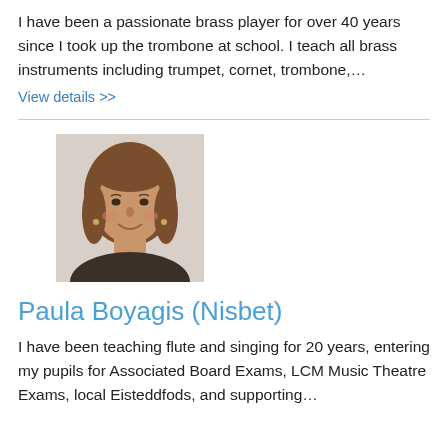I have been a passionate brass player for over 40 years since I took up the trombone at school. I teach all brass instruments including trumpet, cornet, trombone,...
View details >>
[Figure (photo): Portrait photo of Paula Boyagis (Nisbet), a woman with long brown hair, smiling.]
Paula Boyagis (Nisbet)
I have been teaching flute and singing for 20 years, entering my pupils for Associated Board Exams, LCM Music Theatre Exams, local Eisteddfods, and supporting...